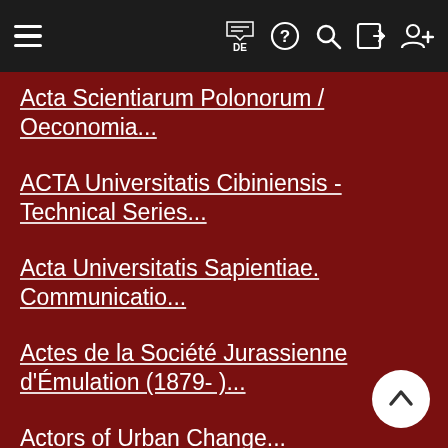Navigation bar with hamburger menu, flag/DE, help, search, login, register icons
Acta Scientiarum Polonorum / Oeconomia...
ACTA Universitatis Cibiniensis - Technical Series...
Acta Universitatis Sapientiae. Communicatio...
Actes de la Société Jurassienne d'Émulation (1879- )...
Actors of Urban Change...